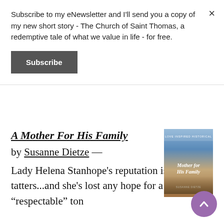Subscribe to my eNewsletter and I'll send you a copy of my new short story - The Church of Saint Thomas, a redemptive tale of what we value in life - for free.
Subscribe
A Mother For His Family
by Susanne Dietze —
Lady Helena Stanhope's reputation is in tatters...and she's lost any hope for a "respectable" ton
[Figure (photo): Book cover of 'A Mother For His Family' by Susanne Dietze, showing a couple near a church]
[Figure (other): Purple circular scroll-to-top button with upward-pointing chevron arrow]